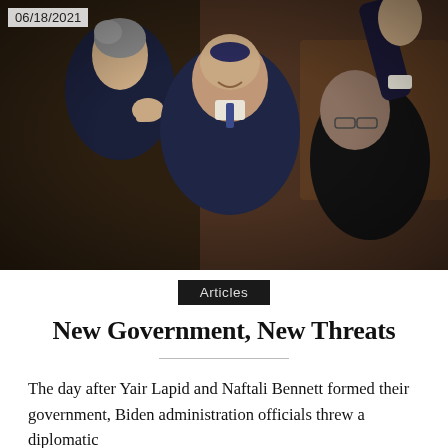[Figure (photo): Photo of Yair Lapid and Naftali Bennett celebrating in the Knesset, dated 06/18/2021. Three men in suits, one raising his hand, smiling in a parliament setting with wooden benches in the background.]
Articles
New Government, New Threats
The day after Yair Lapid and Naftali Bennett formed their government, Biden administration officials threw a diplomatic